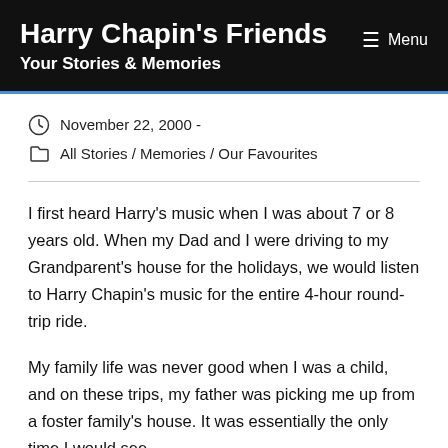Harry Chapin's Friends
Your Stories & Memories
November 22, 2000  -
All Stories  /  Memories  /  Our Favourites
I first heard Harry's music when I was about 7 or 8 years old. When my Dad and I were driving to my Grandparent's house for the holidays, we would listen to Harry Chapin's music for the entire 4-hour round-trip ride.
My family life was never good when I was a child, and on these trips, my father was picking me up from a foster family's house. It was essentially the only time I would see